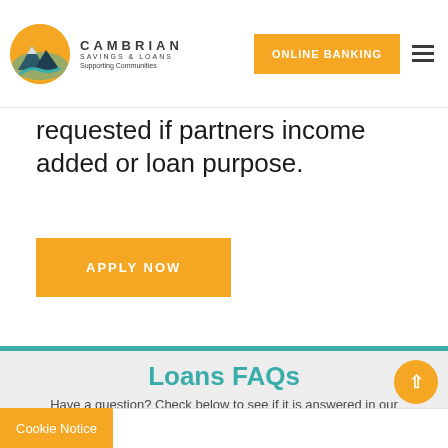[Figure (logo): Cambrian Savings & Loans logo with mountain and river icon in a circular orange frame, with text CAMBRIAN SAVINGS & LOANS Supporting Communities]
ONLINE BANKING
requested if partners income added or loan purpose.
APPLY NOW
Loans FAQs
Have a question? Check below to see if it is answered in our Frequently Answered Questions
Cookie Notice